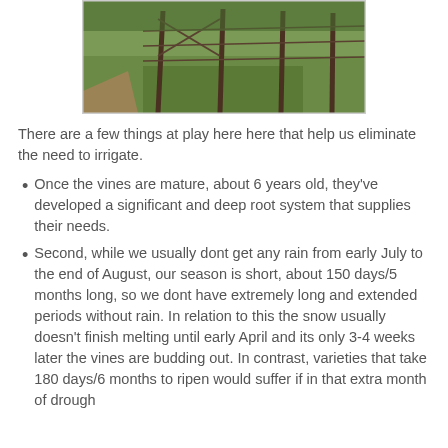[Figure (photo): Vineyard photo showing rows of vines with fence posts and green grass, partial view from top of page]
There are a few things at play here here that help us eliminate the need to irrigate.
Once the vines are mature, about 6 years old, they've developed a significant and deep root system that supplies their needs.
Second, while we usually dont get any rain from early July to the end of August, our season is short, about 150 days/5 months long, so we dont have extremely long and extended periods without rain. In relation to this the snow usually doesn't finish melting until early April and its only 3-4 weeks later the vines are budding out. In contrast, varieties that take 180 days/6 months to ripen would suffer if in that extra month of drough